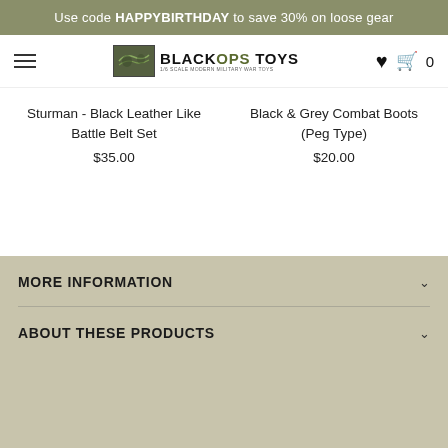Use code HAPPYBIRTHDAY to save 30% on loose gear
[Figure (logo): Black Ops Toys logo with camo icon and text '1/6 SCALE MODERN MILITARY WAR TOYS']
Sturman - Black Leather Like Battle Belt Set
$35.00
Black & Grey Combat Boots (Peg Type)
$20.00
MORE INFORMATION
ABOUT THESE PRODUCTS